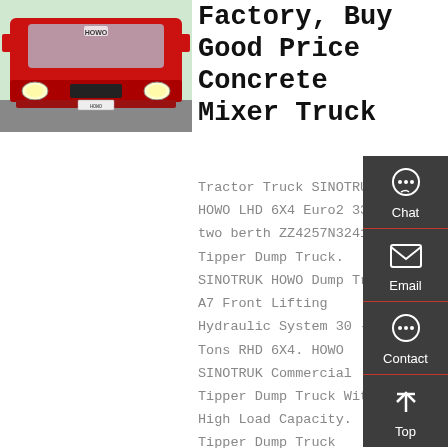[Figure (photo): Front view of a red SINOTRUK HOWO truck]
Factory, Buy Good Price Concrete Mixer Truck
Tractor Truck SINOTRUK HOWO LHD 6X4 Euro2 336HP two berth ZZ4257N3241V. Tipper Dump Truck. SINOTRUK HOWO Dump Truck A7 Front Lifting Hydraulic System 30 - Tons RHD 6X4. HOWO SINOTRUK Commercial Tipper Dump Truck With High Load Capacity. Tipper Dump Truck